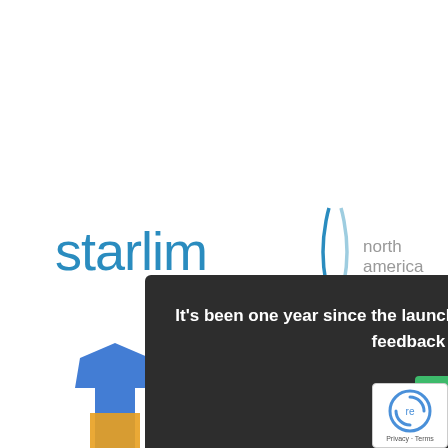[Figure (logo): Starlims North America logo — blue lowercase 'starlims' text with stylized S-curve lines, grey 'north america' text beside it]
[Figure (logo): Trudell Medical International logo — red shield crest badge on left, bold black text 'TRUDELL MEDICAL INTERNATIONAL' on right]
It's been one year since the launch of our new website. We'd love to hear your feedback with a short survey.
Reply